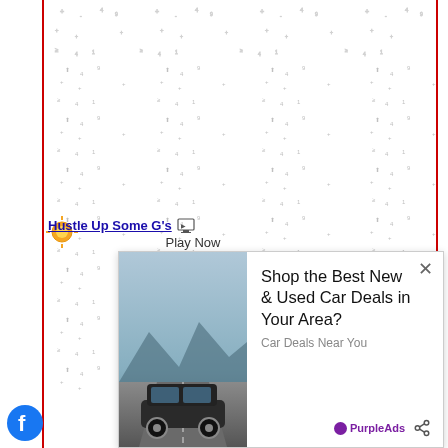[Figure (screenshot): Notebook/lined paper scatter pattern background with red vertical border lines on left and right sides. Small grey plus signs, dashes, and marks scattered across white background resembling a dot-grid or handwriting practice sheet.]
Hustle Up Some G's
Play Now
[Figure (photo): Advertisement showing a dark SUV car (Volvo or similar) on a road with mountains in background]
Shop the Best New & Used Car Deals in Your Area?
Car Deals Near You
PurpleAds